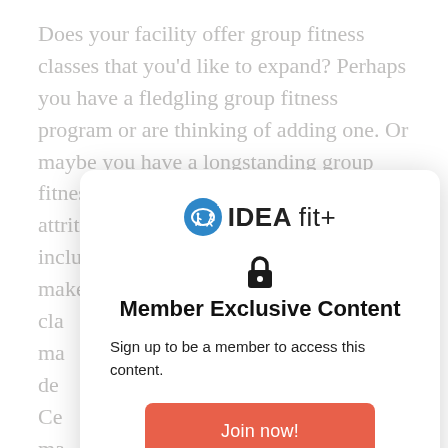Does your facility offer group fitness classes that you'd like to expand? Perhaps you have a fledgling group fitness program or are thinking of adding one. Or maybe you have a longstanding group fitness program that has seen some attrition over the past few years, including the loss of its former leader. It makes sense to contemplate how to run cla... ma... de... Ce... so ma... ss me... Or ... so... Gr...
[Figure (screenshot): IDEA fit+ membership modal overlay with logo, lock icon, 'Member Exclusive Content' heading, sign-up message, and 'Join now!' button]